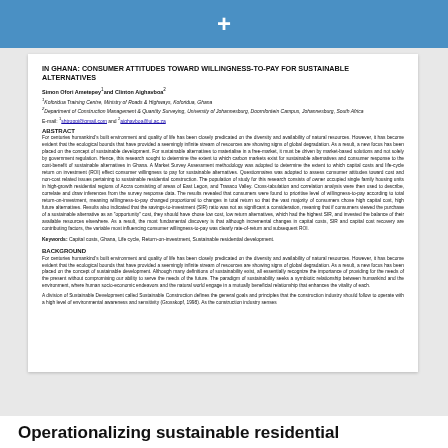+
IN GHANA: CONSUMER ATTITUDES TOWARD WILLINGNESS-TO-PAY FOR SUSTAINABLE ALTERNATIVES
Simon Ofori Ametepey¹and Clinton Aighavboa²
¹Koforidua Training Centre, Ministry of Roads & Highways, Koforidua, Ghana
²Department of Construction Management & Quantity Surveying, University of Johannesburg, Doornfontein Campus, Johannesburg, South Africa
E-mail: ¹shtroppi@gmail.com and ²aighavboa@uj.ac.za
ABSTRACT
For centuries humankind's built environment and quality of life has been closely predicated on the diversity and availability of natural resources. However, it has become evident that the ecological bounds that have provided a seemingly infinite stream of resources are showing signs of global degradation. As a result, a new focus has been placed on the concept of sustainable development. For sustainable alternatives to materialise in a free-market, it must be driven by market-based solutions and not solely by government regulation. Hence, this research sought to determine the extent to which carbon markets exist for sustainable alternatives and consumer response to the cost-benefit of sustainable alternatives in Ghana. A Market Survey Assessment methodology was adopted to determine the extent to which capital costs and life-cycle return on investment (ROI) effect consumer willingness to pay for sustainable alternatives. Questionnaires was adopted to assess consumer attitudes toward cost and non-cost related issues pertaining to sustainable residential construction. The population of study for this research consists of owner occupied single family housing units in high-growth residential regions of Accra consisting of areas of East Legon, and Trasaco Valley. Cross-tabulation and correlation analysis were then used to describe, correlate and draw inferences from the survey response data. The results revealed that consumers were found to prioritise level of willingness-to-pay according to total return-on-investment, meaning willingness-to-pay changed proportional to changes in total return so that the vast majority of consumers chose high capital cost, high future alternatives. Results also indicated that the savings-to-investment (SIR) ratio was not as significant a consideration, meaning that if consumers viewed the purchase of a sustainable alternative as an "opportunity" cost, they should have chose low cost, low return alternatives, which had the highest SIR, and invested the balance of their available resources elsewhere. As a result, the most fundamental discovery is that although incremental changes in capital costs, SIR and capital cost recovery are contributing factors, the variable most influencing consumer willingness-to-pay was clearly rate-of-return and subsequent ROI.
Keywords: Capital costs, Ghana, Life cycle, Return-on-investment, Sustainable residential development.
BACKGROUND
For centuries humankind's built environment and quality of life has been closely predicated on the diversity and availability of natural resources. However, it has become evident that the ecological bounds that have provided a seemingly infinite stream of resources are showing signs of global degradation. As a result, a new focus has been placed on the concept of sustainable development. Although many definitions of sustainability exist, all essentially recognize the importance of providing for the needs of the present without compromising our ability to serve the needs of the future. The paradigm of sustainability seeks a symbiotic relationship between humankind and the environment, where human socio-economic endeavors and the natural world engage in a mutually beneficial relationship that enhances the vitality of each.
A division of Sustainable Development called Sustainable Construction defines the general goals and principles that the construction industry should follow to operate with a high level of environmental awareness and sensitivity (Grosskopf, 1998). As the construction industry senses
Operationalizing sustainable residential